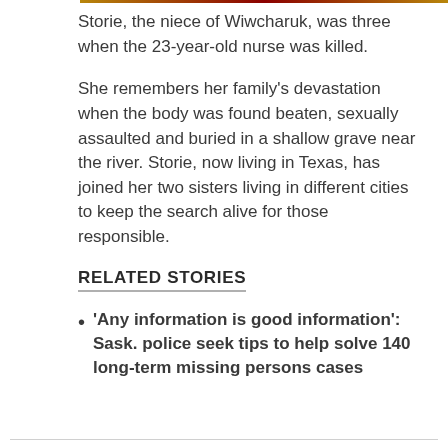Storie, the niece of Wiwcharuk, was three when the 23-year-old nurse was killed.
She remembers her family's devastation when the body was found beaten, sexually assaulted and buried in a shallow grave near the river. Storie, now living in Texas, has joined her two sisters living in different cities to keep the search alive for those responsible.
RELATED STORIES
'Any information is good information': Sask. police seek tips to help solve 140 long-term missing persons cases